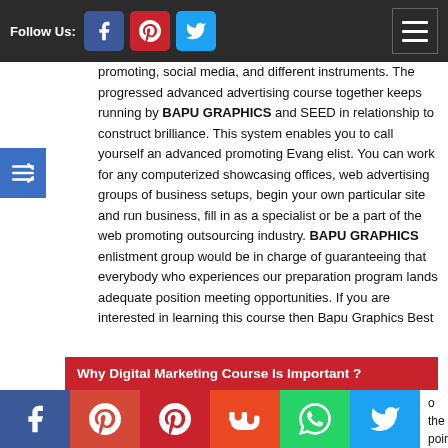Follow Us:
promoting, social media, and different instruments. The progressed advanced advertising course together keeps running by BAPU GRAPHICS and SEED in relationship to construct brilliance. This system enables you to call yourself an advanced promoting Evang elist. You can work for any computerized showcasing offices, web advertising groups of business setups, begin your own particular site and run business, fill in as a specialist or be a part of the web promoting outsourcing industry. BAPU GRAPHICS enlistment group would be in charge of guaranteeing that everybody who experiences our preparation program lands adequate position meeting opportunities. If you are interested in learning this course then Bapu Graphics Best Digital Marketing Course Training Institute In Delhi is perfect for you. We also provide Online Digital Marketing Course With Certification.
Why Digital Marketing Course Is Important ?
o the point that shoppers have time and wherever they need it